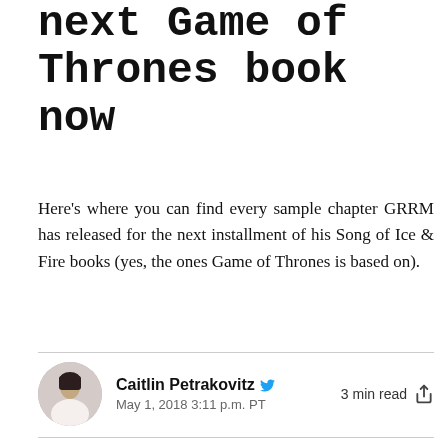Winds of Winter: Read the next Game of Thrones book now
Here's where you can find every sample chapter GRRM has released for the next installment of his Song of Ice & Fire books (yes, the ones Game of Thrones is based on).
Caitlin Petrakovitz  May 1, 2018  3:11 p.m. PT  3 min read
[Figure (illustration): Illustration of a fantasy battle scene with fire, flames in orange and red tones, dark blue night sky with stars, and castle/battlement structures at the bottom with a dark spear/arrow in the center.]